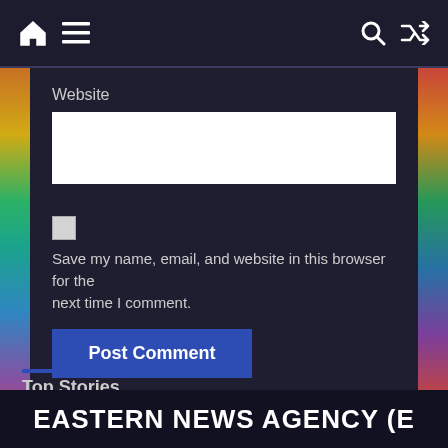Navigation bar with home, menu, search, and shuffle icons
Website
[Figure (screenshot): Empty white text input field for website URL]
[Figure (screenshot): Checkbox (unchecked) for saving name, email, and website]
Save my name, email, and website in this browser for the next time I comment.
[Figure (screenshot): Blue Post Comment button]
Top Stories
EASTERN NEWS AGENCY (E